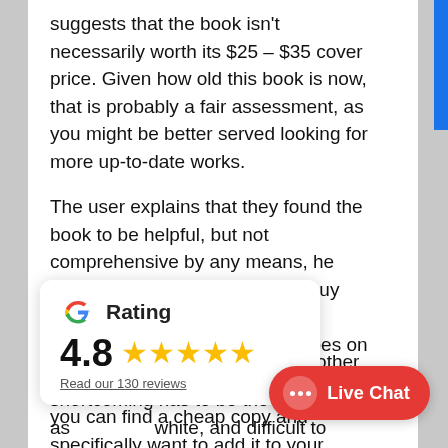suggests that the book isn't necessarily worth its $25 – $35 cover price. Given how old this book is now, that is probably a fair assessment, as you might be better served looking for more up-to-date works.
The user explains that they found the book to be helpful, but not comprehensive by any means, he stated that they would need to buy more books to fully understand injection molding. The review goes on to say that the book's major shortcoming has to be the illustrations, as [they are black and] white, and difficult to [interpret due to their] small size.
[Figure (infographic): Google rating card showing 4.8 stars out of 5, with 5 gold stars and a link reading 'Read our 130 reviews'. Google 'G' logo visible at top.]
you look at other [reviews commenting] on this [book,] you can find a cheap copy and specifically want to add it to your
[Figure (other): Red oval Live Chat button with white chat bubble icon (three dots) and white text 'Live Chat']